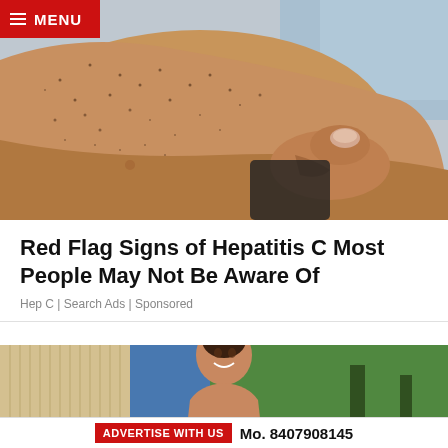MENU
[Figure (photo): Close-up photo of a person's arm/skin showing dark spots and freckles, being held or examined, with a blue sleeve visible in background.]
Red Flag Signs of Hepatitis C Most People May Not Be Aware Of
Hep C | Search Ads | Sponsored
[Figure (photo): Photo of a smiling young woman with dark hair in an updo, standing outdoors near a building with trees in background.]
ADVERTISE WITH US  Mo. 8407908145